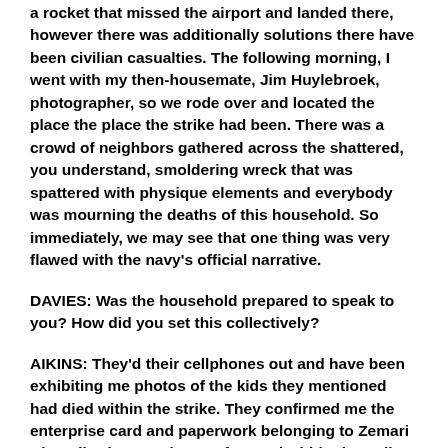a rocket that missed the airport and landed there, however there was additionally solutions there have been civilian casualties. The following morning, I went with my then-housemate, Jim Huylebroek, photographer, so we rode over and located the place the place the strike had been. There was a crowd of neighbors gathered across the shattered, you understand, smoldering wreck that was spattered with physique elements and everybody was mourning the deaths of this household. So immediately, we may see that one thing was very flawed with the navy's official narrative.
DAVIES: Was the household prepared to speak to you? How did you set this collectively?
AIKINS: They'd their cellphones out and have been exhibiting me photos of the kids they mentioned had died within the strike. They confirmed me the enterprise card and paperwork belonging to Zemari Ahmadi, who was the one focused within the strike and saying, you understand, he labored for an